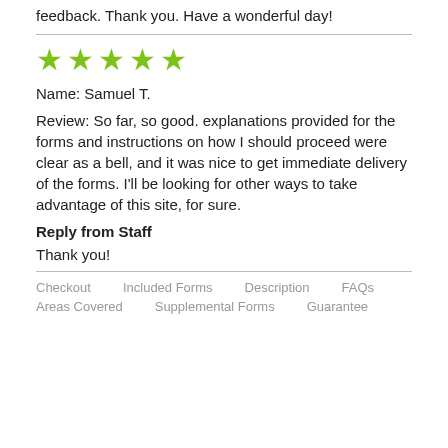feedback. Thank you. Have a wonderful day!
Name: Samuel T.
Review: So far, so good. explanations provided for the forms and instructions on how I should proceed were clear as a bell, and it was nice to get immediate delivery of the forms. I'll be looking for other ways to take advantage of this site, for sure.
Reply from Staff
Thank you!
Checkout   Included Forms   Description   FAQs   Areas Covered   Supplemental Forms   Guarantee